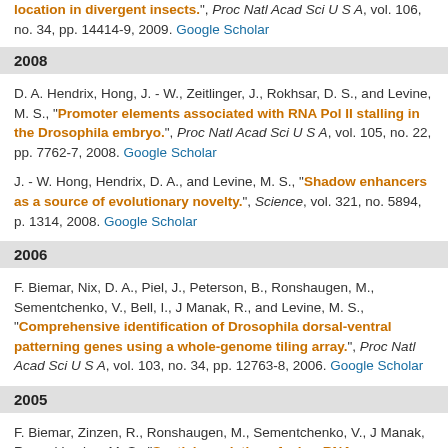location in divergent insects.", Proc Natl Acad Sci U S A, vol. 106, no. 34, pp. 14414-9, 2009. Google Scholar
2008
D. A. Hendrix, Hong, J. - W., Zeitlinger, J., Rokhsar, D. S., and Levine, M. S., "Promoter elements associated with RNA Pol II stalling in the Drosophila embryo.", Proc Natl Acad Sci U S A, vol. 105, no. 22, pp. 7762-7, 2008. Google Scholar
J. - W. Hong, Hendrix, D. A., and Levine, M. S., "Shadow enhancers as a source of evolutionary novelty.", Science, vol. 321, no. 5894, p. 1314, 2008. Google Scholar
2006
F. Biemar, Nix, D. A., Piel, J., Peterson, B., Ronshaugen, M., Sementchenko, V., Bell, I., J Manak, R., and Levine, M. S., "Comprehensive identification of Drosophila dorsal-ventral patterning genes using a whole-genome tiling array.", Proc Natl Acad Sci U S A, vol. 103, no. 34, pp. 12763-8, 2006. Google Scholar
2005
F. Biemar, Zinzen, R., Ronshaugen, M., Sementchenko, V., J Manak, R., and Levine, M. S., "Spatial regulation of microRNA gene